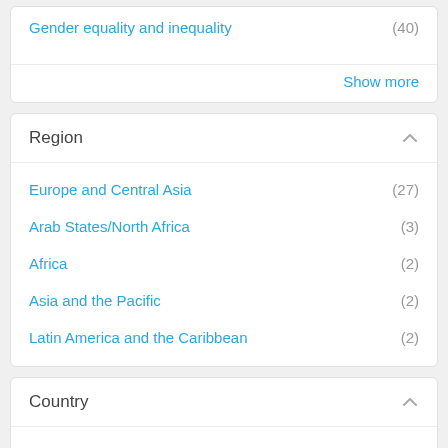Gender equality and inequality (40)
Show more
Region
Europe and Central Asia (27)
Arab States/North Africa (3)
Africa (2)
Asia and the Pacific (2)
Latin America and the Caribbean (2)
Country
Türkiye (11)
Ukraine (10)
Moldova, Republic of (5)